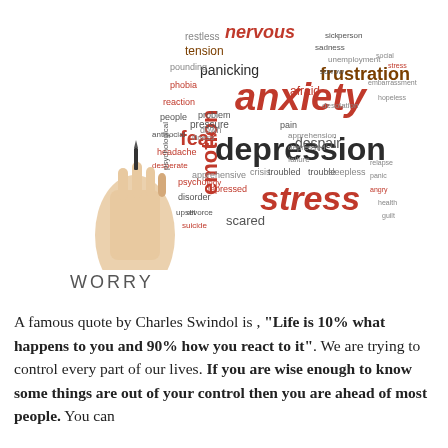[Figure (illustration): A word cloud featuring mental health related terms such as anxiety, depression, stress, fear, frustration, emotion, nervous, tension, panicking, worry, despair, and many others in varying sizes and colors (dark red, orange, grey, black). A hand holds a marker or pen at the bottom left of the cloud.]
WORRY
A famous quote by Charles Swindol is , “Life is 10% what happens to you and 90% how you react to it”. We are trying to control every part of our lives. If you are wise enough to know some things are out of your control then you are ahead of most people. You can